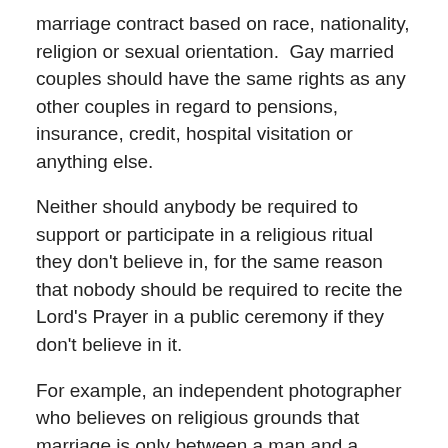marriage contract based on race, nationality, religion or sexual orientation.  Gay married couples should have the same rights as any other couples in regard to pensions, insurance, credit, hospital visitation or anything else.
Neither should anybody be required to support or participate in a religious ritual they don't believe in, for the same reason that nobody should be required to recite the Lord's Prayer in a public ceremony if they don't believe in it.
For example, an independent photographer who believes on religious grounds that marriage is only between a man and a woman should not be required to take photographs as a gay wedding.
I think that religious institutions should be free to set their